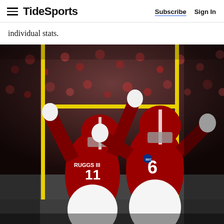TideSports | Subscribe  Sign In
individual stats.
[Figure (photo): Two Alabama Crimson Tide football players in red uniforms celebrating on the field. Player #11 RUGGS III and player #6, both with arms raised, in front of yellow goal posts with a crowd in the background.]